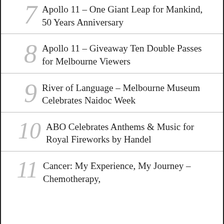7  Apollo 11 – One Giant Leap for Mankind, 50 Years Anniversary
8  Apollo 11 – Giveaway Ten Double Passes for Melbourne Viewers
9  River of Language – Melbourne Museum Celebrates Naidoc Week
10  ABO Celebrates Anthems & Music for Royal Fireworks by Handel
11  Cancer: My Experience, My Journey – Chemotherapy,